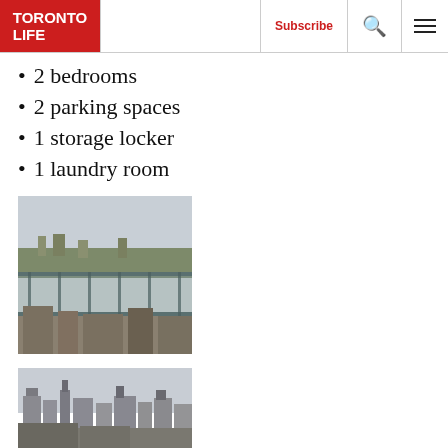TORONTO LIFE | Subscribe
2 bedrooms
2 parking spaces
1 storage locker
1 laundry room
[Figure (photo): View from a balcony showing rooftops and city skyline with overcast sky and glass railing]
[Figure (photo): View of city buildings and skyline with overcast sky, partially cut off at bottom]